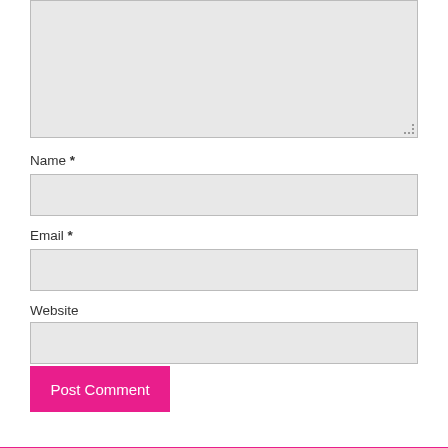[Figure (screenshot): Comment form textarea (large, gray, resizable)]
Name *
[Figure (screenshot): Name input field (gray rectangle)]
Email *
[Figure (screenshot): Email input field (gray rectangle)]
Website
[Figure (screenshot): Website input field (gray rectangle)]
Post Comment